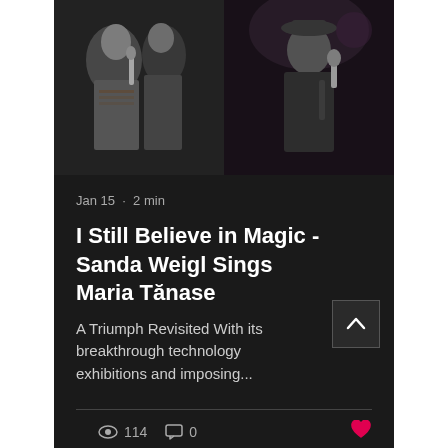[Figure (photo): Two black and white photos side by side: left shows performers in traditional Romanian costume with microphone, right shows a person in dark clothing holding a microphone on stage]
Jan 15 · 2 min
I Still Believe in Magic - Sanda Weigl Sings Maria Tănase
A Triumph Revisited With its breakthrough technology exhibitions and imposing...
114  0